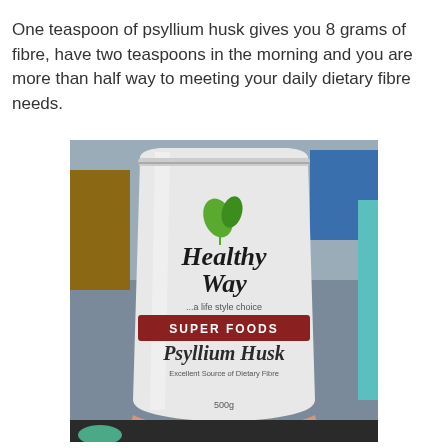One teaspoon of psyllium husk gives you 8 grams of fibre, have two teaspoons in the morning and you are more than half way to meeting your daily dietary fibre needs.
[Figure (photo): A hand holding a white pouch of 'Healthy Way Super Foods Psyllium Husk' 500g product. The bag features a green leaf logo and a dark red banner reading SUPER FOODS with Psyllium Husk text below. Background shows a room with wooden furniture and blue chair.]